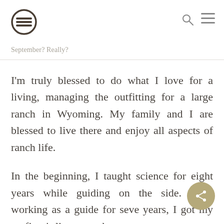September? Really?
I'm truly blessed to do what I love for a living, managing the outfitting for a large ranch in Wyoming. My family and I are blessed to live there and enjoy all aspects of ranch life.
In the beginning, I taught science for eight years while guiding on the side. After working as a guide for seve[ral] years, I got my outfitter's license and